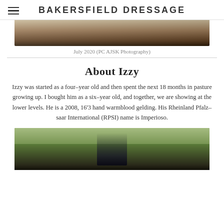BAKERSFIELD DRESSAGE
[Figure (photo): Partial view of horse hooves and legs running on dirt ground, cropped at top of page]
July 2020 (PC AJSK Photography)
About Izzy
Izzy was started as a four-year old and then spent the next 18 months in pasture growing up. I bought him as a six-year old, and together, we are showing at the lower levels. He is a 2008, 16'3 hand warmblood gelding. His Rheinland Pfalz-saar International (RPSI) name is Imperioso.
[Figure (photo): Rider in blue competition attire on dark horse, trees visible in background, partial view at bottom of page]